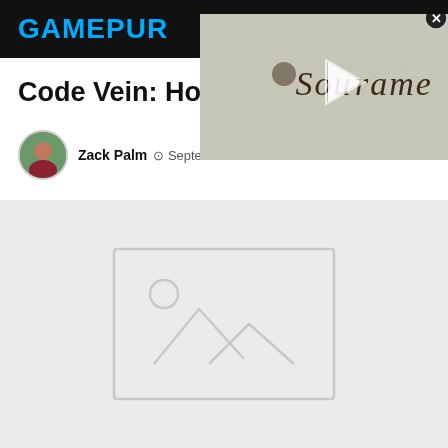GAMEPUR
[Figure (screenshot): Video thumbnail overlay showing 'Soulframe' text in gothic/blackletter font on a stone textured background with a play button, and a close (X) button in the top right corner]
Code Vein: How To
Zack Palm  September 27
[Figure (photo): Placeholder image placeholder - grey rectangle with mountain/landscape icon outline in lighter grey]